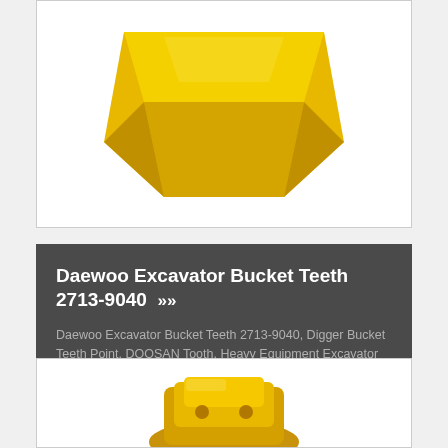[Figure (photo): Yellow excavator bucket tooth / digger tooth point shown from above on white background, partially cropped at top]
Daewoo Excavator Bucket Teeth 2713-9040 >>
Daewoo Excavator Bucket Teeth 2713-9040, Digger Bucket Teeth Point, DOOSAN Tooth, Heavy Equipment Excavator Tooth, DAEWOO & DOOSAN Excavator Bucket Teeth 2713Y9040, Replacement DAEWOO Standard Dirt Type Tooth Daewoo Excavator Bucket Teeth 2713-9040
View More
[Figure (photo): Yellow/gold excavator bucket tooth adapter shown partially, bottom of page, white background]